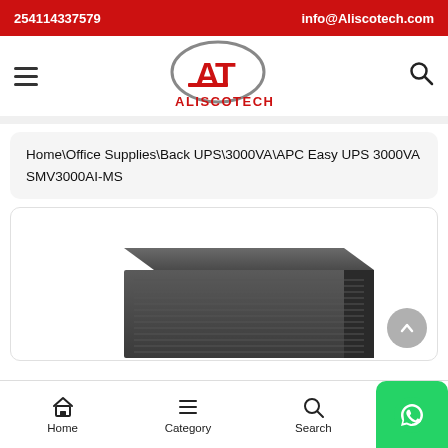254114337579   info@Aliscotech.com
[Figure (logo): Aliscotech logo with stylized AT letters in red and gray oval, with ALISCOTECH text in red below]
Home\Office Supplies\Back UPS\3000VA\APC Easy UPS 3000VA SMV3000AI-MS
[Figure (photo): APC Easy UPS 3000VA SMV3000AI-MS product photo showing a dark gray rack-style UPS unit]
Home   Category   Search   WhatsApp